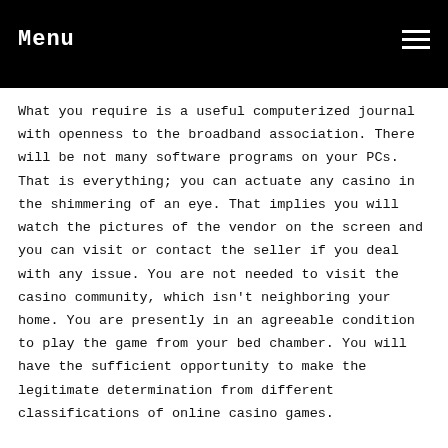Menu
What you require is a useful computerized journal with openness to the broadband association. There will be not many software programs on your PCs. That is everything; you can actuate any casino in the shimmering of an eye. That implies you will watch the pictures of the vendor on the screen and you can visit or contact the seller if you deal with any issue. You are not needed to visit the casino community, which isn't neighboring your home. You are presently in an agreeable condition to play the game from your bed chamber. You will have the sufficient opportunity to make the legitimate determination from different classifications of online casino games.